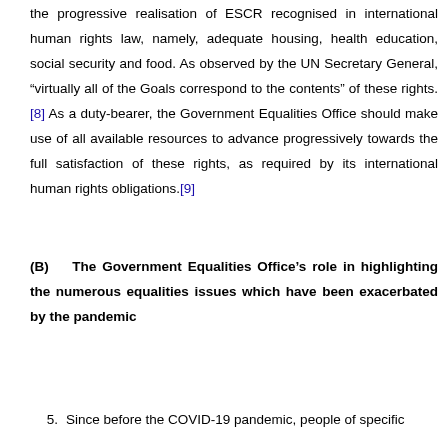the progressive realisation of ESCR recognised in international human rights law, namely, adequate housing, health education, social security and food. As observed by the UN Secretary General, “virtually all of the Goals correspond to the contents” of these rights.[8] As a duty-bearer, the Government Equalities Office should make use of all available resources to advance progressively towards the full satisfaction of these rights, as required by its international human rights obligations.[9]
(B) The Government Equalities Office’s role in highlighting the numerous equalities issues which have been exacerbated by the pandemic
5. Since before the COVID-19 pandemic, people of specific